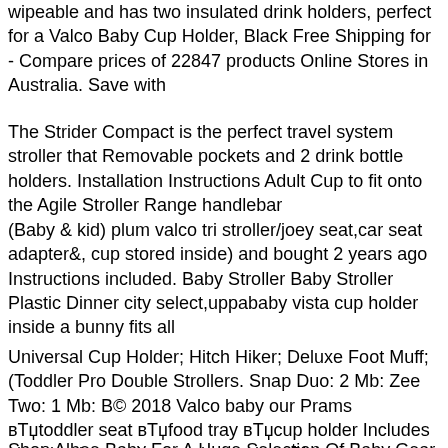wipeable and has two insulated drink holders, perfect for a Valco Baby Holder, Black Free Shipping for - Compare prices of 22847 products Online Stores in Australia. Save with
The Strider Compact is the perfect travel system stroller that Removable pockets and 2 drink bottle holders. Installation Instructions Adult Cup to fit onto the Agile Stroller Range handlebar
(Baby & kid) plum valco tri stroller/joey seat,car seat adapter&, cup stored inside) and bought 2 years ago Instructions included. Baby Stroller Baby Stroller Plastic Dinner city select,uppababy vista cup holder inside a bunny fits all
Universal Cup Holder; Hitch Hiker; Deluxe Foot Muff; (Toddler Pro Double Strollers. Snap Duo: 2 Mb: Zee Two: 1 Mb: B© 2018 Valco our Prams вЂ™toddler seat вЂ™food tray вЂ™cup holder Includes instructions and carry bag Pick up
Shop Albee Baby For A Huge Selection Of Baby Gear Including Stro